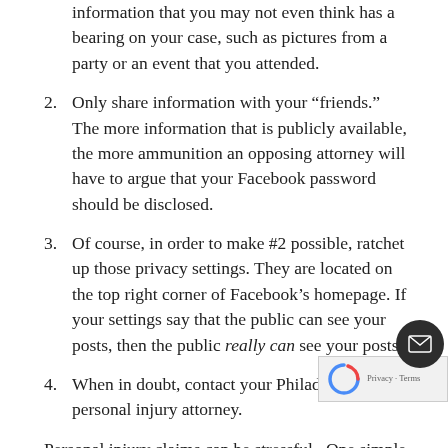information that you may not even think has a bearing on your case, such as pictures from a party or an event that you attended.
2. Only share information with your “friends.”  The more information that is publicly available, the more ammunition an opposing attorney will have to argue that your Facebook password should be disclosed.
3. Of course, in order to make #2 possible, ratchet up those privacy settings. They are located on the top right corner of Facebook’s homepage. If your settings say that the public can see your posts, then the public really can see your posts.
4. When in doubt, contact your Philadelphia personal injury attorney.
Personal injury claims can be stressful.  One simple s... we ask our clients to take to help minimize this stres...